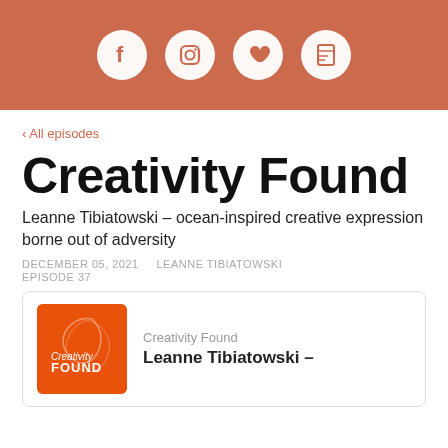Social media icons: Facebook, Instagram, heart/podcast, Readwise
‹ All episodes
Creativity Found
Leanne Tibiatowski – ocean-inspired creative expression borne out of adversity
DECEMBER 05, 2021   LEANNE TIBIATOWSKI   EPISODE 37
[Figure (other): Podcast player card showing Creativity Found album art (orange background with white leaf/floral design and text 'Creativity Found') alongside episode title 'Leanne Tibiatowski –']